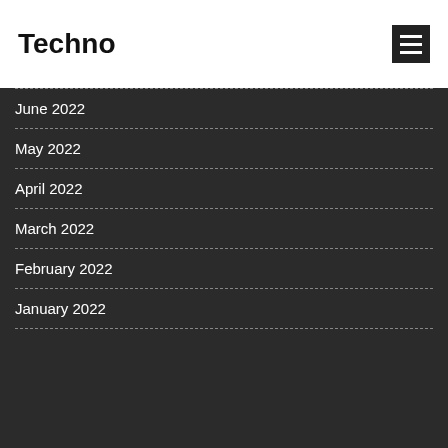Techno
June 2022
May 2022
April 2022
March 2022
February 2022
January 2022